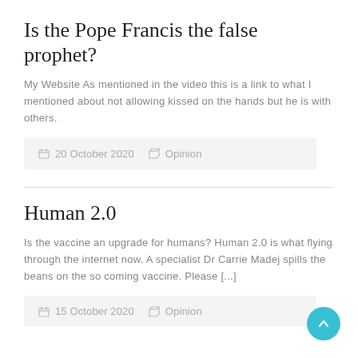Is the Pope Francis the false prophet?
My Website As mentioned in the video this is a link to what I mentioned about not allowing kissed on the hands but he is with others.
20 October 2020   Opinion
Human 2.0
Is the vaccine an upgrade for humans? Human 2.0 is what flying through the internet now. A specialist Dr Carrie Madej spills the beans on the so coming vaccine. Please [...]
15 October 2020   Opinion